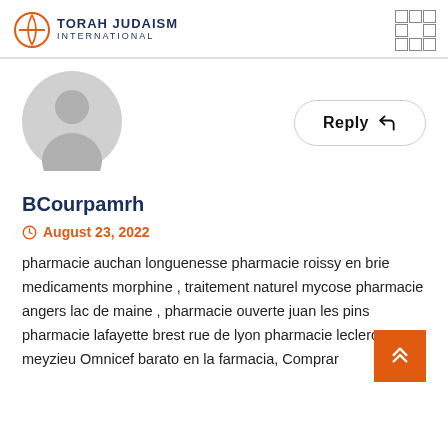TORAH JUDAISM INTERNATIONAL
[Figure (illustration): Default grey avatar/profile placeholder icon showing a silhouette of a person]
Reply
BCourpamrh
August 23, 2022
pharmacie auchan longuenesse pharmacie roissy en brie medicaments morphine , traitement naturel mycose pharmacie angers lac de maine , pharmacie ouverte juan les pins pharmacie lafayette brest rue de lyon pharmacie leclerc meyzieu Omnicef barato en la farmacia, Comprar